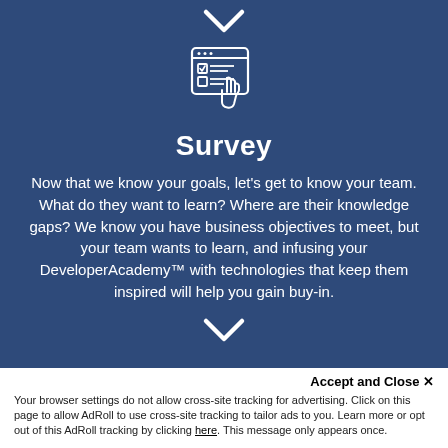[Figure (illustration): Small white downward chevron arrow at top of blue section]
[Figure (illustration): White line icon of a hand pointing at a browser/checklist window]
Survey
Now that we know your goals, let's get to know your team. What do they want to learn? Where are their knowledge gaps? We know you have business objectives to meet, but your team wants to learn, and infusing your DeveloperAcademy™ with technologies that keep them inspired will help you gain buy-in.
[Figure (illustration): Small white downward chevron arrow at bottom of blue section]
Accept and Close ✕
Your browser settings do not allow cross-site tracking for advertising. Click on this page to allow AdRoll to use cross-site tracking to tailor ads to you. Learn more or opt out of this AdRoll tracking by clicking here. This message only appears once.